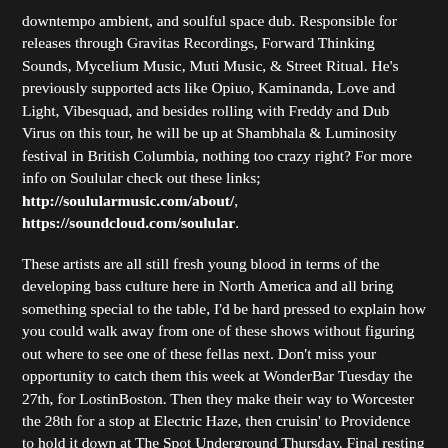downtempo ambient, and soulful space dub. Responsible for releases through Gravitas Recordings, Forward Thinking Sounds, Mycelium Music, Muti Music, & Street Ritual. He's previously supported acts like Opiuo, Kaminanda, Love and Light, Vibesquad, and besides rolling with Freddy and Dub Virus on this tour, he will be up at Shambhala & Luminosity festival in British Columbia, nothing too crazy right? For more info on Soulular check out these links; http://soulularmusic.com/about/, https://soundcloud.com/soulular.
These artists are all still fresh young blood in terms of the developing bass culture here in North America and all bring something special to the table, I'd be hard pressed to explain how you could walk away from one of these shows without figuring out where to see one of these fellas next. Don't miss your opportunity to catch them this week at WonderBar Tuesday the 27th, for LostinBoston. Then they make their way to Worcester the 28th for a stop at Electric Haze, then cruisin' to Providence to hold it down at The Spot Underground Thursday. Final resting stop of the tour Portland, Maine